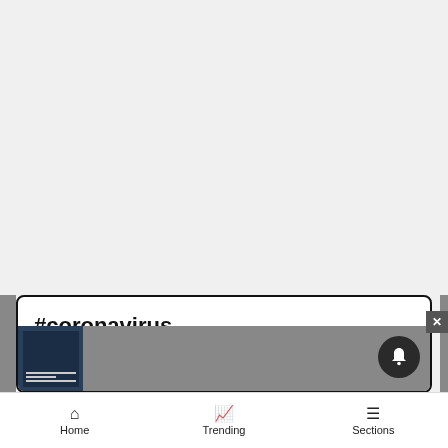YOUR AD HERE »
#coronavirus
[Figure (screenshot): Dark blue thumbnail image with text lines, inside gray strip at bottom of popup card]
[Figure (other): Dark circular notification bell button]
[Figure (other): Gray close (X) button in top-right corner of overlay]
Home   Trending   Sections